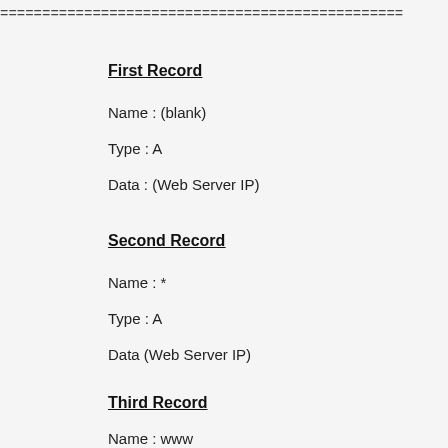================================================
First Record
Name : (blank)
Type : A
Data : (Web Server IP)
Second Record
Name : *
Type : A
Data (Web Server IP)
Third Record
Name : www
Type : A